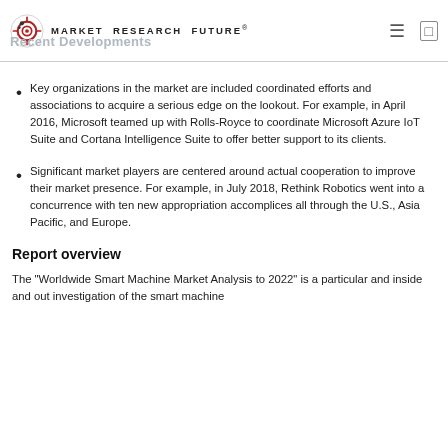Market Research Future — Recent Developments
Key organizations in the market are included coordinated efforts and associations to acquire a serious edge on the lookout. For example, in April 2016, Microsoft teamed up with Rolls-Royce to coordinate Microsoft Azure IoT Suite and Cortana Intelligence Suite to offer better support to its clients.
Significant market players are centered around actual cooperation to improve their market presence. For example, in July 2018, Rethink Robotics went into a concurrence with ten new appropriation accomplices all through the U.S., Asia Pacific, and Europe.
Report overview
The "Worldwide Smart Machine Market Analysis to 2022" is a particular and inside and out investigation of the smart machine